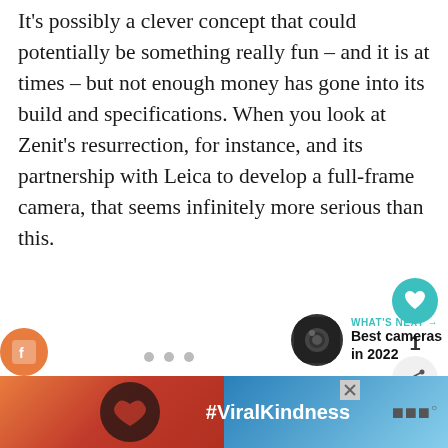It's possibly a clever concept that could potentially be something really fun – and it is at times – but not enough money has gone into its build and specifications. When you look at Zenit's resurrection, for instance, and its partnership with Leica to develop a full-frame camera, that seems infinitely more serious than this.
[Figure (infographic): Social media UI elements: heart/like button (teal circle), like count '1', share button (light grey circle with share icon), 'WHAT'S NEXT' label with arrow, camera thumbnail, 'Best cameras in 2022' text, navigation dots, advertisement banner with #ViralKindness]
WHAT'S NEXT → Best cameras in 2022